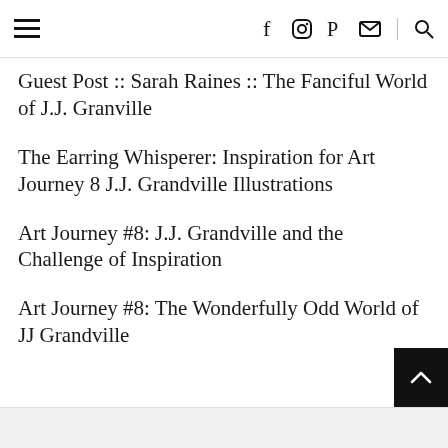Navigation header with hamburger menu and social icons: f (Facebook), Instagram, Pinterest, email, search
Guest Post :: Sarah Raines :: The Fanciful World of J.J. Granville
The Earring Whisperer: Inspiration for Art Journey 8 J.J. Grandville Illustrations
Art Journey #8: J.J. Grandville and the Challenge of Inspiration
Art Journey #8: The Wonderfully Odd World of JJ Grandville